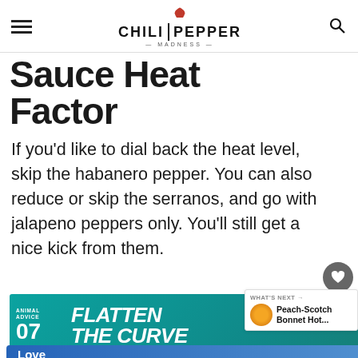Chili Pepper Madness
Sauce Heat Factor
If you’d like to dial back the heat level, skip the habanero pepper. You can also reduce or skip the serranos, and go with jalapeno peppers only. You’ll still get a nice kick from them.
[Figure (screenshot): Promotional ad banner: teal background, 'Animal Advice 07 - FLATTEN THE CURVE' text with colorful illustration]
[Figure (screenshot): What's Next panel: Peach-Scotch Bonnet Hot Sauce thumbnail and title]
[Figure (screenshot): Blue ad banner: Love Your Smile / HelpByDesign with dental illustration]